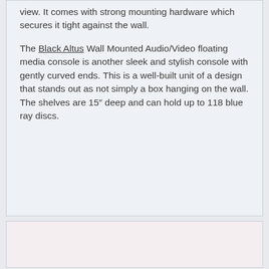view. It comes with strong mounting hardware which secures it tight against the wall.

The Black Altus Wall Mounted Audio/Video floating media console is another sleek and stylish console with gently curved ends. This is a well-built unit of a design that stands out as not simply a box hanging on the wall. The shelves are 15″ deep and can hold up to 118 blue ray discs.